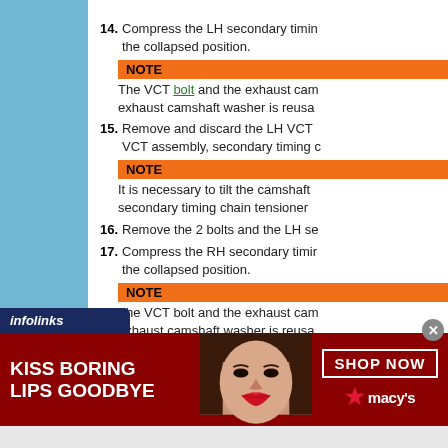14. Compress the LH secondary timing chain tensioner and install the tensioner clip to hold the tensioner in the collapsed position.
NOTE
The VCT bolt and the exhaust camshaft bolt are re-used. The exhaust camshaft washer is reusable.
15. Remove and discard the LH VCT assembly bolt. Remove the LH VCT assembly, secondary timing chain and secondary timing chain tensioner.
NOTE
It is necessary to tilt the camshaft to remove the LH VCT assembly and secondary timing chain tensioner from the secondary timing chain.
16. Remove the 2 bolts and the LH secondary timing chain tensioner.
17. Compress the RH secondary timing chain tensioner and install the tensioner clip to hold the tensioner in the collapsed position.
NOTE
The VCT bolt and the exhaust camshaft bolt are re-used. The exhaust camshaft washer is reusable.
[Figure (screenshot): Infolinks advertisement bar and Macy's banner ad: Kiss Boring Lips Goodbye - Shop Now at Macy's]